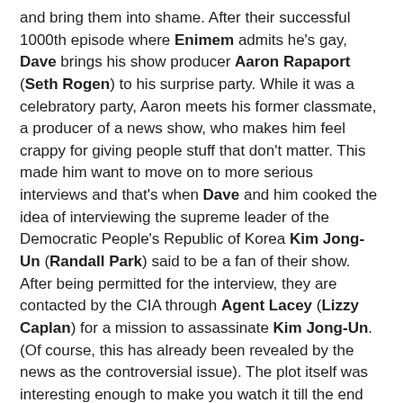and bring them into shame.  After their successful 1000th episode where Enimem admits he's gay, Dave brings his show producer Aaron Rapaport (Seth Rogen) to his surprise party.  While it was a celebratory party, Aaron meets his former classmate, a producer of a news show, who makes him feel crappy for giving people stuff that don't matter.  This made him want to move on to more serious interviews and that's when Dave and him cooked the idea of interviewing the supreme leader of the Democratic People's Republic of Korea Kim Jong-Un (Randall Park) said to be a fan of their show.  After being permitted for the interview, they are contacted by the CIA through Agent Lacey (Lizzy Caplan) for a mission to assassinate Kim Jong-Un.  (Of course, this has already been revealed by the news as the controversial issue).  The plot itself was interesting enough to make you watch it till the end as you want to know whether the two wackos: Dave and Aaron are persistent in fulfilling the mission and should they attempt to, would they be able to achieve it.
The acting skills of the casts especially James Franco deserves distinction here.  A great weight of the movie relied on James and he successfully pulled through.  The duo of